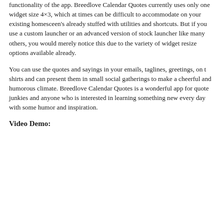functionality of the app. Breedlove Calendar Quotes currently uses only one widget size 4×3, which at times can be difficult to accommodate on your existing homesceen's already stuffed with utilities and shortcuts. But if you use a custom launcher or an advanced version of stock launcher like many others, you would merely notice this due to the variety of widget resize options available already.
You can use the quotes and sayings in your emails, taglines, greetings, on t shirts and can present them in small social gatherings to make a cheerful and humorous climate. Breedlove Calendar Quotes is a wonderful app for quote junkies and anyone who is interested in learning something new every day with some humor and inspiration.
Video Demo: